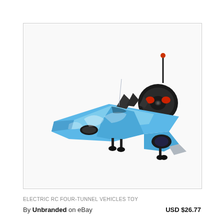[Figure (photo): A blue and grey RC toy fighter jet (F-35 style) with landing gear deployed, shown alongside a black steering wheel remote controller with red buttons and an antenna.]
ELECTRIC RC FOUR-TUNNEL VEHICLES TOY
By Unbranded on eBay   USD $26.77